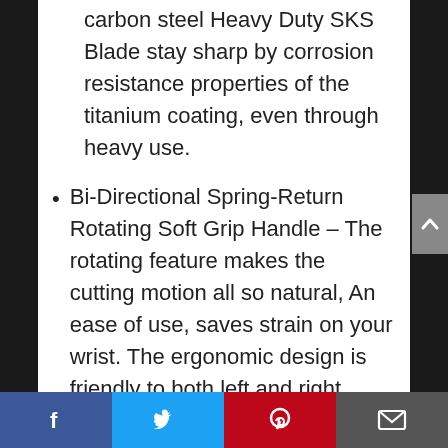carbon steel Heavy Duty SKS Blade stay sharp by corrosion resistance properties of the titanium coating, even through heavy use.
Bi-Directional Spring-Return Rotating Soft Grip Handle – The rotating feature makes the cutting motion all so natural, An ease of use, saves strain on your wrist. The ergonomic design is friendly to both left and right hand to use.
Lightweight and Durable – Aluminium alloy body, with Ultra-fine Polishing Technology made the bypass pruning shears durable and